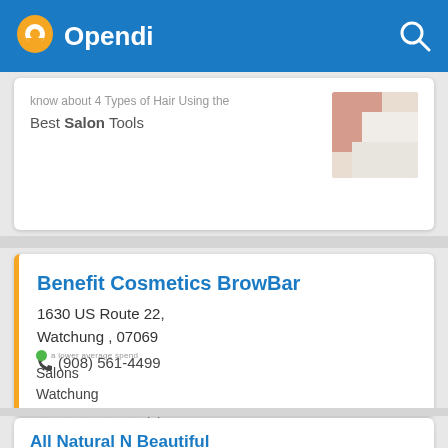Opendi
Best Salon Tools
Benefit Cosmetics BrowBar
1630 US Route 22,
Watchung , 07069
(908) 561-4499
Salons
Watchung
(0)
All Natural N Beautiful
140 Central Ave